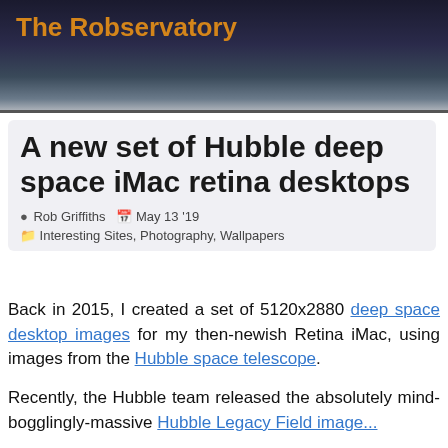The Robservatory
A new set of Hubble deep space iMac retina desktops
Rob Griffiths  May 13 '19
Interesting Sites, Photography, Wallpapers
Back in 2015, I created a set of 5120x2880 deep space desktop images for my then-newish Retina iMac, using images from the Hubble space telescope.
Recently, the Hubble team released the absolutely mind-bogglingly-massive Hubble Legacy Field image...